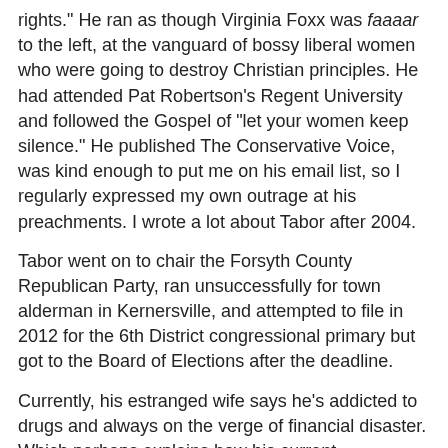rights." He ran as though Virginia Foxx was faaaar to the left, at the vanguard of bossy liberal women who were going to destroy Christian principles. He had attended Pat Robertson's Regent University and followed the Gospel of "let your women keep silence." He published The Conservative Voice, was kind enough to put me on his email list, so I regularly expressed my own outrage at his preachments. I wrote a lot about Tabor after 2004.
Tabor went on to chair the Forsyth County Republican Party, ran unsuccessfully for town alderman in Kernersville, and attempted to file in 2012 for the 6th District congressional primary but got to the Board of Elections after the deadline.
Currently, his estranged wife says he's addicted to drugs and always on the verge of financial disaster. Which perhaps explains how his current incarceration got started. He was arrested earlier in October by the Ocean Isle Beach police department, along with the Brunswick County Sheriff's office, for stealing catalytic converters from a church, a Habitat for Humanity Restore, and from two different people (some of the goods allegedly stolen at Sunset Beach). (Michael